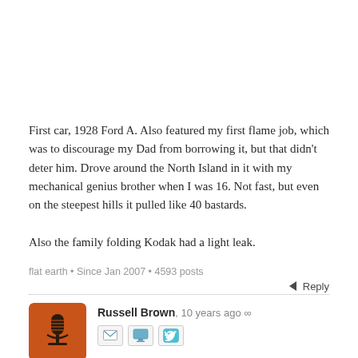First car, 1928 Ford A. Also featured my first flame job, which was to discourage my Dad from borrowing it, but that didn't deter him. Drove around the North Island in it with my mechanical genius brother when I was 16. Not fast, but even on the steepest hills it pulled like 40 bastards.

Also the family folding Kodak had a light leak.
flat earth • Since Jan 2007 • 4593 posts
Reply
[Figure (photo): Avatar icon: orange/brown background with a vintage microphone illustration in dark brown/black]
Russell Brown, 10 years ago ∞